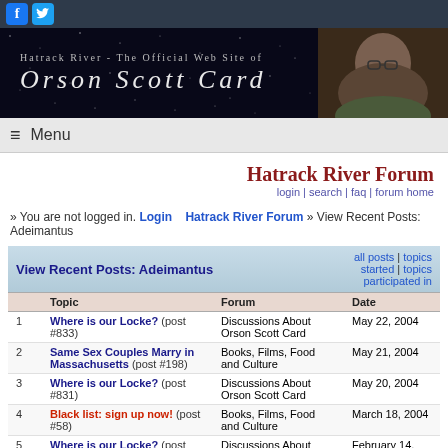[Figure (screenshot): Social media icons: Facebook (blue f) and Twitter (blue bird)]
[Figure (screenshot): Hatrack River - The Official Web Site of Orson Scott Card banner with portrait photo]
≡ Menu
Hatrack River Forum
login | search | faq | forum home
» You are not logged in. Login    Hatrack River Forum » View Recent Posts: Adeimantus
|  | Topic | Forum | Date |
| --- | --- | --- | --- |
| 1 | Where is our Locke? (post #833) | Discussions About Orson Scott Card | May 22, 2004 |
| 2 | Same Sex Couples Marry in Massachusetts (post #198) | Books, Films, Food and Culture | May 21, 2004 |
| 3 | Where is our Locke? (post #831) | Discussions About Orson Scott Card | May 20, 2004 |
| 4 | Black list: sign up now! (post #58) | Books, Films, Food and Culture | March 18, 2004 |
| 5 | Where is our Locke? (post #822) | Discussions About Orson Scott Card | February 14, 2004 |